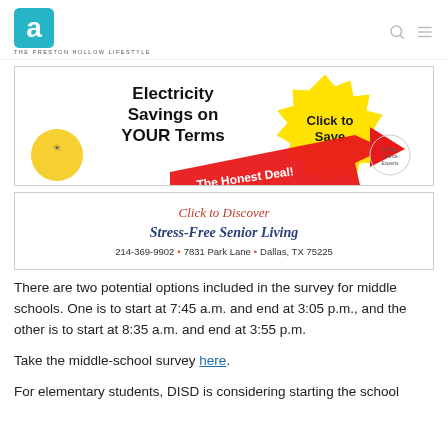THE PRESTON HOLLOW LIFESTYLE
[Figure (infographic): Advertisement: Electricity Savings on YOUR Terms. The Honest Deal! Click to Save. Shows red arrow, lightbulb, and starburst graphic.]
[Figure (infographic): Advertisement: Click to Discover Stress-Free Senior Living. 214-369-9902 • 7831 Park Lane • Dallas, TX 75225]
There are two potential options included in the survey for middle schools. One is to start at 7:45 a.m. and end at 3:05 p.m., and the other is to start at 8:35 a.m. and end at 3:55 p.m.
Take the middle-school survey here.
For elementary students, DISD is considering starting the school